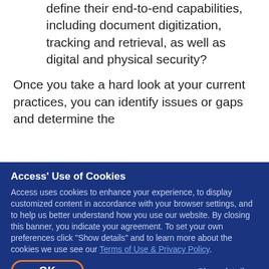define their end-to-end capabilities, including document digitization, tracking and retrieval, as well as digital and physical security?
Once you take a hard look at your current practices, you can identify issues or gaps and determine the appropriate next steps. Read our eBook, The Modern Law Firm's Guide to Document Management, to learn how you can develop an information governance strategy that complies with modern standards and best practices. With contributions from our Global, Enterprise and Legal experts, having worked in Europe and US in various senior consultancy capacities.
Access' Use of Cookies
Access uses cookies to enhance your experience, to display customized content in accordance with your browser settings, and to help us better understand how you use our website. By closing this banner, you indicate your agreement. To set your own preferences click "Show details" and to learn more about the cookies we use see our Terms of Use & Privacy Policy.